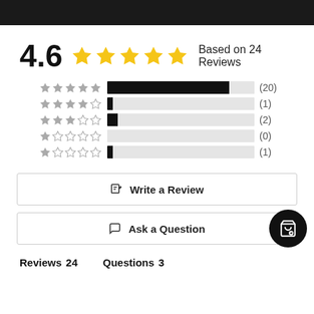[Figure (infographic): Top black bar decorative header]
4.6 ★★★★★ Based on 24 Reviews
[Figure (bar-chart): Rating breakdown]
✏ Write a Review
💬 Ask a Question
Reviews  24    Questions  3